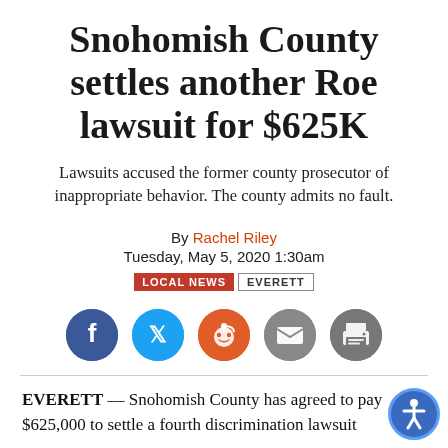Snohomish County settles another Roe lawsuit for $625K
Lawsuits accused the former county prosecutor of inappropriate behavior. The county admits no fault.
By Rachel Riley
Tuesday, May 5, 2020 1:30am
LOCAL NEWS  EVERETT
[Figure (infographic): Social sharing icons: Facebook, Twitter, Reddit, Email, Print]
EVERETT — Snohomish County has agreed to pay $625,000 to settle a fourth discrimination lawsuit